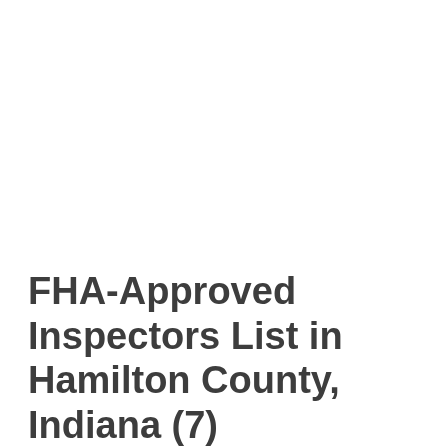FHA-Approved Inspectors List in Hamilton County, Indiana (7)